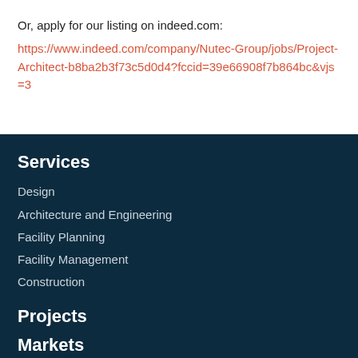Or, apply for our listing on indeed.com:
https://www.indeed.com/company/Nutec-Group/jobs/Project-Architect-b8ba2b3f73c5d0d4?fccid=39e66908f7b864bc&vjs=3
Services
Design
Architecture and Engineering
Facility Planning
Facility Management
Construction
Projects
Markets